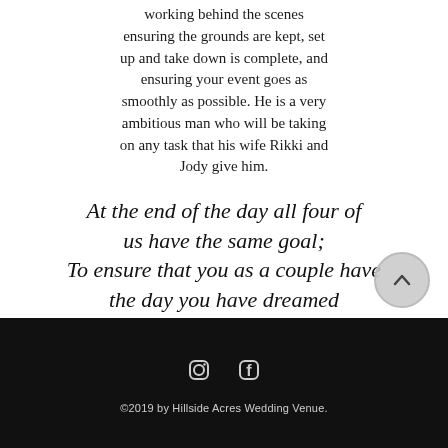working behind the scenes ensuring the grounds are kept, set up and take down is complete, and ensuring your event goes as smoothly as possible. He is a very ambitious man who will be taking on any task that his wife Rikki and Jody give him.
At the end of the day all four of us have the same goal; To ensure that you as a couple have the day you have dreamed
©2019 by Hillside Acres Wedding Venue.